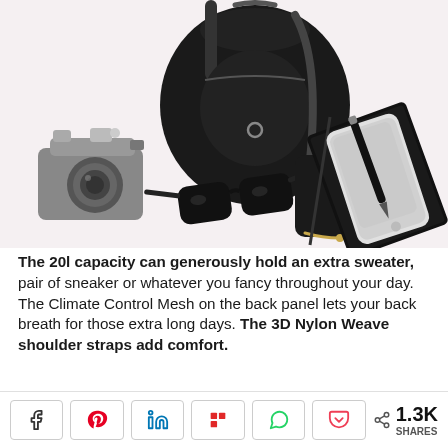[Figure (photo): Product flat lay photo on light pink/white background: a black backpack in the center-top, a vintage-style silver/black camera on the lower left, black sunglasses in the lower center-left, a black leather square wallet in the lower center, and a notebook/planner with a smartphone and pen on the right.]
The 20l capacity can generously hold an extra sweater, pair of sneaker or whatever you fancy throughout your day. The Climate Control Mesh on the back panel lets your back breath for those extra long days. The 3D Nylon Weave shoulder straps add comfort.